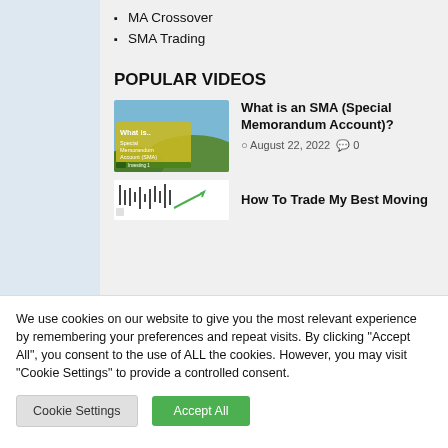MA Crossover
SMA Trading
POPULAR VIDEOS
[Figure (screenshot): Video thumbnail showing 'What is.. Special Memorandum Account (SMA)' with yellow/green background and nature landscape]
What is an SMA (Special Memorandum Account)?
August 22, 2022  0
How To Trade My Best Moving
We use cookies on our website to give you the most relevant experience by remembering your preferences and repeat visits. By clicking "Accept All", you consent to the use of ALL the cookies. However, you may visit "Cookie Settings" to provide a controlled consent.
Cookie Settings
Accept All